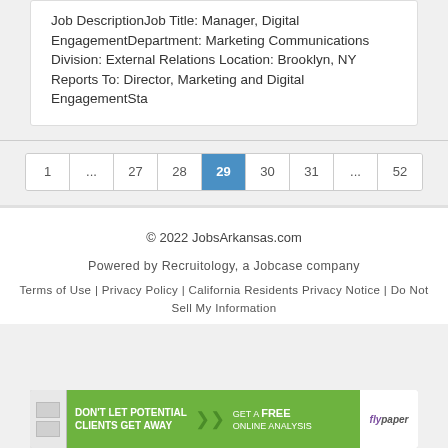Job DescriptionJob Title: Manager, Digital EngagementDepartment: Marketing Communications Division: External Relations Location: Brooklyn, NY Reports To: Director, Marketing and Digital EngagementSta
1 ... 27 28 29 30 31 ... 52
© 2022 JobsArkansas.com
Powered by Recruitology, a Jobcase company
Terms of Use | Privacy Policy | California Residents Privacy Notice | Do Not Sell My Information
[Figure (other): Advertisement banner: green background with text 'DON'T LET POTENTIAL CLIENTS GET AWAY' and 'GET A FREE ONLINE ANALYSIS' with Flypaper logo]